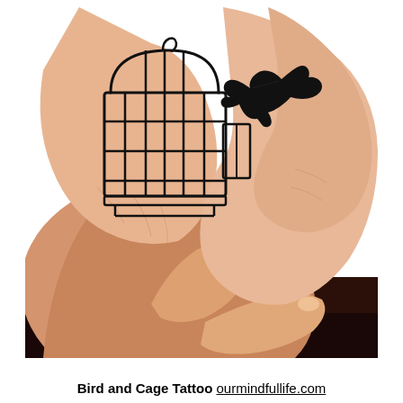[Figure (photo): Two hands clasped together, each with a tattoo. The left hand has an open birdcage tattoo outline in black ink. The right hand has a black silhouette of a bird in flight tattoo.]
Bird and Cage Tattoo ourmindfullife.com